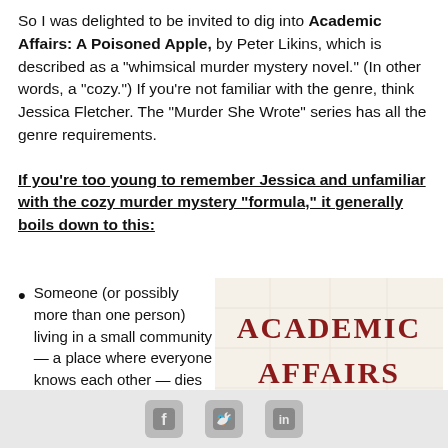So I was delighted to be invited to dig into Academic Affairs: A Poisoned Apple, by Peter Likins, which is described as a "whimsical murder mystery novel." (In other words, a "cozy.") If you're not familiar with the genre, think Jessica Fletcher. The "Murder She Wrote" series has all the genre requirements.
If you're too young to remember Jessica and unfamiliar with the cozy murder mystery “formula,” it generally boils down to this:
Someone (or possibly more than one person) living in a small community — a place where everyone knows each other — dies unexpectedly. The
[Figure (illustration): Book cover of 'Academic Affairs: A Poisoned Apple' featuring large red and dark red text title on a light background with a red apple with a green leaf at the bottom.]
Social media share icons: Facebook, Twitter, LinkedIn